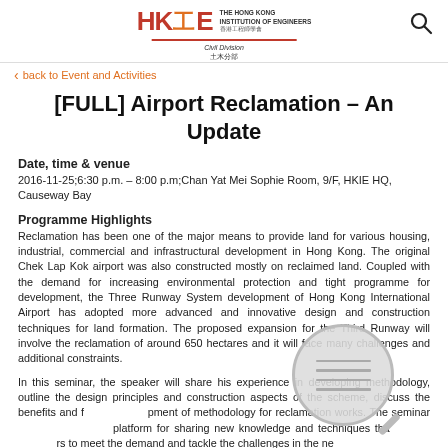HKIE - The Hong Kong Institution of Engineers, Civil Division
back to Event and Activities
[FULL] Airport Reclamation – An Update
Date, time & venue
2016-11-25;6:30 p.m. – 8:00 p.m;Chan Yat Mei Sophie Room, 9/F, HKIE HQ, Causeway Bay
Programme Highlights
Reclamation has been one of the major means to provide land for various housing, industrial, commercial and infrastructural development in Hong Kong. The original Chek Lap Kok airport was also constructed mostly on reclaimed land. Coupled with the demand for increasing environmental protection and tight programme for development, the Three Runway System development of Hong Kong International Airport has adopted more advanced and innovative design and construction techniques for land formation. The proposed expansion for the Third Runway will involve the reclamation of around 650 hectares and it will face many challenges and additional constraints.
In this seminar, the speaker will share his experience in developing methodology, outline the design principles and construction aspects of the scheme, discuss the benefits and further development of methodology for reclamation works. The seminar will also provide a platform for sharing new knowledge and techniques that enable engineers to meet the demand and tackle the challenges in the near future.